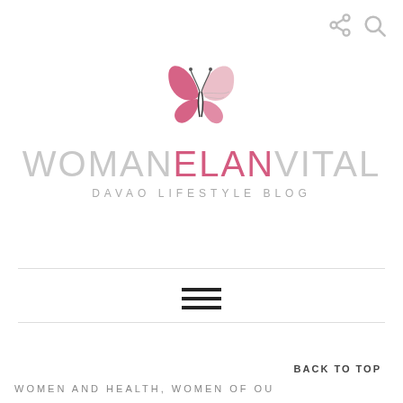[Figure (logo): WomanElanVital Davao Lifestyle Blog logo with pink butterfly graphic above the brand name]
WOMANELANVITAL
DAVAO LIFESTYLE BLOG
[Figure (other): Hamburger menu icon (three horizontal lines)]
BACK TO TOP
WOMEN AND HEALTH, WOMEN OF OU